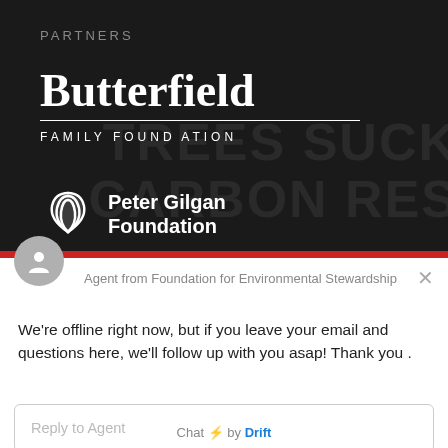PARTNERS
[Figure (logo): Butterfield Family Foundation logo — large serif white text 'Butterfield' with horizontal rule and 'FAMILY FOUNDATION' in spaced caps]
[Figure (logo): Peter Gilgan Foundation logo — wave icon and bold white text 'Peter Gilgan Foundation']
[Figure (screenshot): Drift chat widget showing agent avatar, agent name, offline message, reply box, and Chat by Drift footer]
Agent from Foundation for Environmental Stewardship
We're offline right now, but if you leave your email and questions here, we'll follow up with you asap! Thank you .
Reply to Agent
Chat ⚡ by Drift